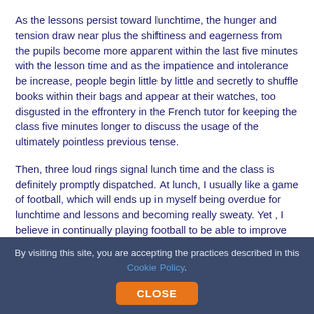As the lessons persist toward lunchtime, the hunger and tension draw near plus the shiftiness and eagerness from the pupils become more apparent within the last five minutes with the lesson time and as the impatience and intolerance be increase, people begin little by little and secretly to shuffle books within their bags and appear at their watches, too disgusted in the effrontery in the French tutor for keeping the class five minutes longer to discuss the usage of the ultimately pointless previous tense.
Then, three loud rings signal lunch time and the class is definitely promptly dispatched. At lunch, I usually like a game of football, which will ends up in myself being overdue for lunchtime and lessons and becoming really sweaty. Yet , I believe in continually playing football to be able to improve and turn fitter, in order that I can hopefully someday stick to in my brother's footsteps in becoming a specialist footballer, since this is what I appreciate doing first and foremost.
By visiting this site, you are accepting the practices described in this Cookie Policy. CLOSE